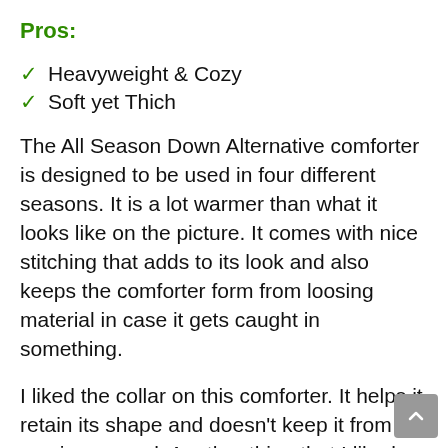Pros:
Heavyweight & Cozy
Soft yet Thich
The All Season Down Alternative comforter is designed to be used in four different seasons. It is a lot warmer than what it looks like on the picture. It comes with nice stitching that adds to its look and also keeps the comforter form from loosing material in case it gets caught in something.
I liked the collar on this comforter. It helps it retain its shape and doesn’t keep it from moving around. Another thing that I liked about this comforter is that I can use it on my bed or I can also use it to cover myself